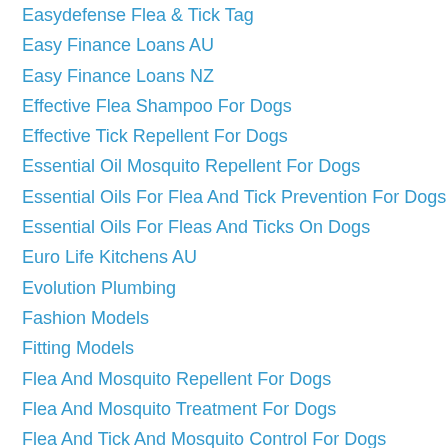Easydefense Flea & Tick Tag
Easy Finance Loans AU
Easy Finance Loans NZ
Effective Flea Shampoo For Dogs
Effective Tick Repellent For Dogs
Essential Oil Mosquito Repellent For Dogs
Essential Oils For Flea And Tick Prevention For Dogs
Essential Oils For Fleas And Ticks On Dogs
Euro Life Kitchens AU
Evolution Plumbing
Fashion Models
Fitting Models
Flea And Mosquito Repellent For Dogs
Flea And Mosquito Treatment For Dogs
Flea And Tick And Mosquito Control For Dogs
Flea And Tick Bath For Dogs
Flea And Tick Control For Dogs
Flea And Tick For Dogs
Flea And Tick For Puppies
Flea And Tick Killer For Dogs
Flea And Tick Medication For Dogs